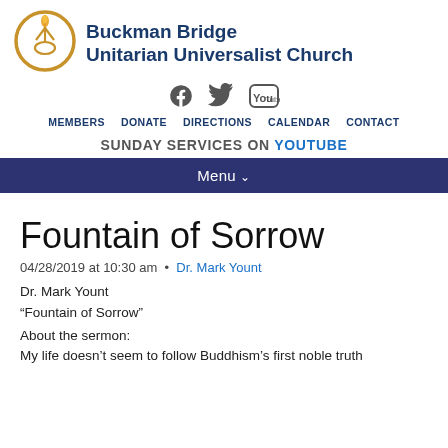Buckman Bridge Unitarian Universalist Church
[Figure (logo): UU chalice logo — gold circle with flame and chalice]
Social media icons: Facebook, Twitter, YouTube
MEMBERS  DONATE  DIRECTIONS  CALENDAR  CONTACT
SUNDAY SERVICES ON YOUTUBE
Menu
Fountain of Sorrow
04/28/2019 at 10:30 am  •  Dr. Mark Yount
Dr. Mark Yount
“Fountain of Sorrow”
About the sermon:
My life doesn’t seem to follow Buddhism’s first noble truth